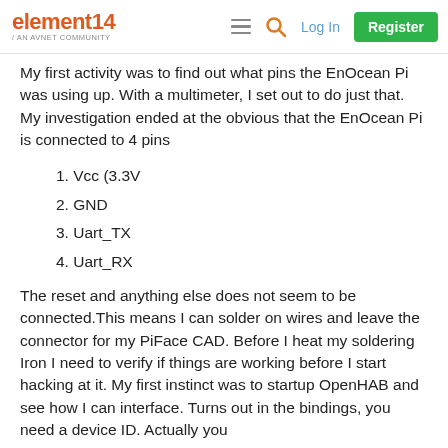element14 / AN AVNET COMMUNITY — Log In | Register
My first activity was to find out what pins the EnOcean Pi was using up. With a multimeter, I set out to do just that. My investigation ended at the obvious that the EnOcean Pi is connected to 4 pins
1. Vcc (3.3V
2. GND
3. Uart_TX
4. Uart_RX
The reset and anything else does not seem to be connected.This means I can solder on wires and leave the connector for my PiFace CAD. Before I heat my soldering Iron I need to verify if things are working before I start hacking at it. My first instinct was to startup OpenHAB and see how I can interface. Turns out in the bindings, you need a device ID. Actually you